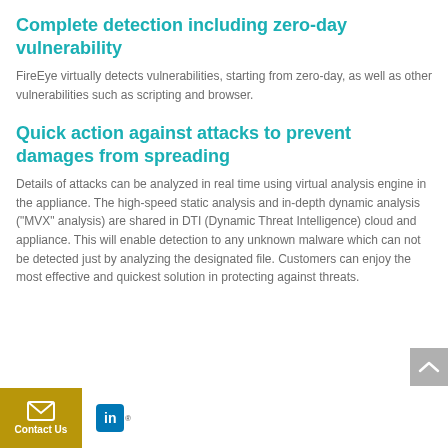Complete detection including zero-day vulnerability
FireEye virtually detects vulnerabilities, starting from zero-day, as well as other vulnerabilities such as scripting and browser.
Quick action against attacks to prevent damages from spreading
Details of attacks can be analyzed in real time using virtual analysis engine in the appliance. The high-speed static analysis and in-depth dynamic analysis ("MVX" analysis) are shared in DTI (Dynamic Threat Intelligence) cloud and appliance. This will enable detection to any unknown malware which can not be detected just by analyzing the designated file. Customers can enjoy the most effective and quickest solution in protecting against threats.
Contact Us